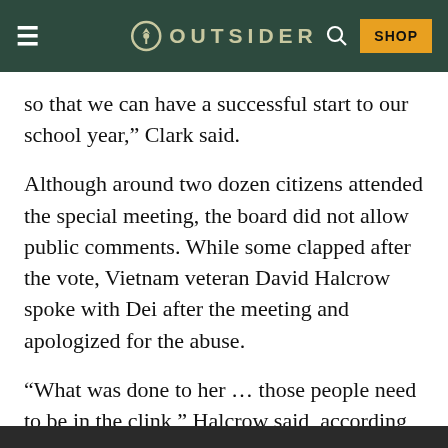OUTSIDER
so that we can have a successful start to our school year,” Clark said.
Although around two dozen citizens attended the special meeting, the board did not allow public comments. While some clapped after the vote, Vietnam veteran David Halcrow spoke with Dei after the meeting and apologized for the abuse.
“What was done to her … those people need to be in the clink,” Halcrow said, according to FOX